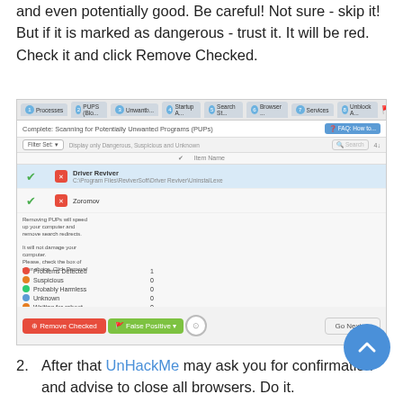and even potentially good. Be careful! Not sure - skip it! But if it is marked as dangerous - trust it. It will be red. Check it and click Remove Checked.
[Figure (screenshot): Screenshot of UnHackMe scanning interface showing PUPs scan results with Driver Reviver and Zoromov detected, summary panel, and action buttons including Remove Checked, False Positive, and Go Next.]
After that UnHackMe may ask you for confirmation and advise to close all browsers. Do it.
In case you need to delete file or directory it is better to check 'Use file safe deleting'. Yes, you